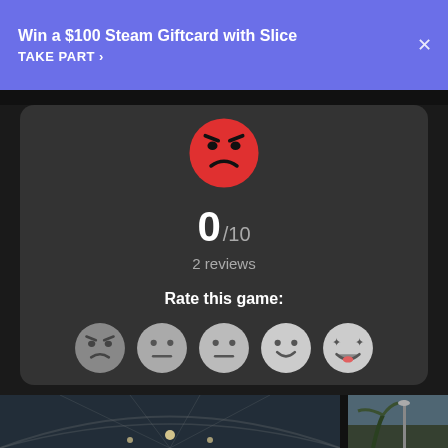Win a $100 Steam Giftcard with Slice
TAKE PART >
[Figure (infographic): Rating widget showing angry red emoji face, score 0/10, 2 reviews, and 5 emoji rating buttons (angry, neutral, blank, smile, star-eyes)]
[Figure (photo): Indoor atrium with glass dome ceiling and hanging chandeliers]
[Figure (photo): Outdoor scene with street lamp and palm trees]